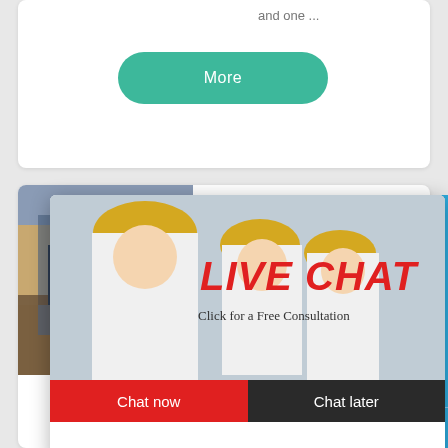and one ...
More
CS Cone
[Figure (screenshot): Live chat popup overlay showing workers in hard hats with LIVE CHAT text in red italic, 'Click for a Free Consultation' subtitle, Chat now (red) and Chat later (dark) buttons]
hour online
Click me to chat>>
Enquiry
hp cone crusher ma... Crusher South Afric... crushers feature a u... combination of , CS... eccentric shaft rota... fankou crusher...
eyyeitml@gmeil...